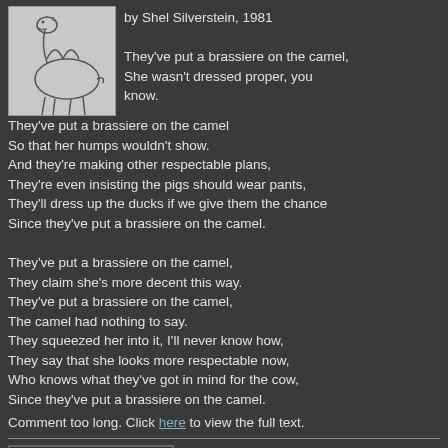[Figure (illustration): Line drawing of a camel]
by Shel Silverstein, 1981

They've put a brassiere on the camel,
She wasn't dressed proper, you know.
They've put a brassiere on the camel
So that her humps wouldn't show.
And they're making other respectable plans,
They're even insisting the pigs should wear pants,
They'll dress up the ducks if we give them the chance
Since they've put a brassiere on the camel.

They've put a brassiere on the camel,
They claim she's more decent this way.
They've put a brassiere on the camel,
The camel had nothing to say.
They squeezed her into it, I'll never know how,
They say that she looks more respectable now,
Who knows what they've got in mind for the cow,
Since they've put a brassiere on the camel.
Comment too long. Click here to view the full text.
[0] [1] [2] [3]
[4] [5] [6] [7]
Delete Post [ File Only]
Password Delete